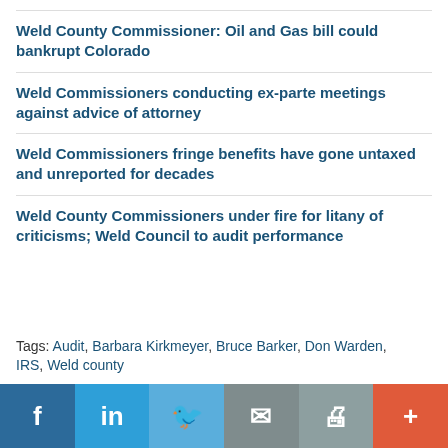Weld County Commissioner: Oil and Gas bill could bankrupt Colorado
Weld Commissioners conducting ex-parte meetings against advice of attorney
Weld Commissioners fringe benefits have gone untaxed and unreported for decades
Weld County Commissioners under fire for litany of criticisms; Weld Council to audit performance
Tags: Audit, Barbara Kirkmeyer, Bruce Barker, Don Warden, IRS, Weld county